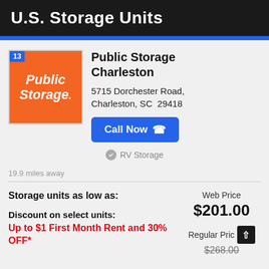U.S. Storage Units
[Figure (logo): Public Storage logo — orange background with white bold italic text reading 'Public Storage.' with a period, numbered badge '13' in blue top-left corner]
Public Storage Charleston
5715 Dorchester Road, Charleston, SC  29418
Call Now
RV Storage
19.9 miles away
Storage units as low as:
Web Price $201.00
Discount on select units:
Regular Price $268.00
Up to $1 First Month Rent and 30% OFF*